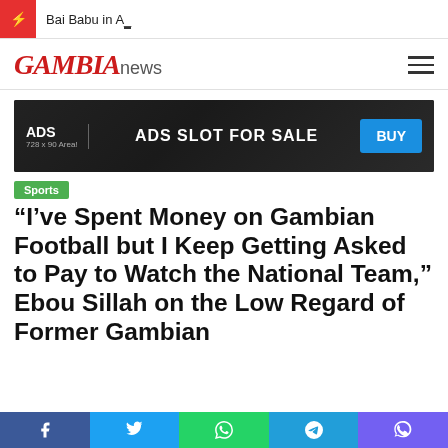Bai Babu in A_
[Figure (logo): GAMBIAnews logo with red italic GAMBIA and grey 'news' text, plus hamburger menu icon]
[Figure (other): Advertisement banner: ADS 728 x 90 Area! ADS SLOT FOR SALE BUY button]
Sports
“I’ve Spent Money on Gambian Football but I Keep Getting Asked to Pay to Watch the National Team,” Ebou Sillah on the Low Regard of Former Gambian
Social share bar: Facebook, Twitter, WhatsApp, Telegram, Viber